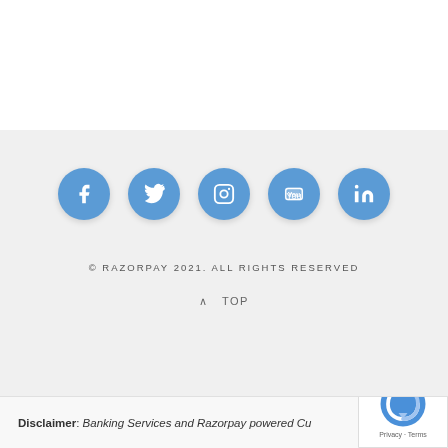[Figure (other): Social media icons row: Facebook, Twitter, Instagram, YouTube, LinkedIn — blue circles with white icons]
© RAZORPAY 2021. ALL RIGHTS RESERVED
^ TOP
Disclaimer: Banking Services and Razorpay powered Cu...